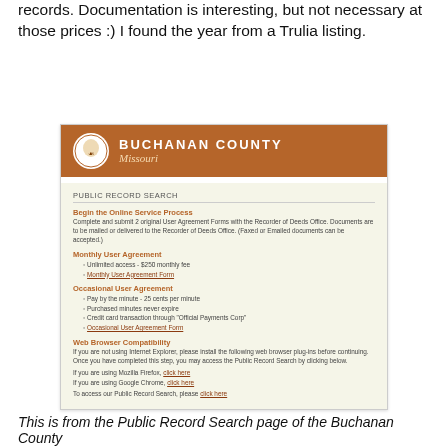records.  Documentation is interesting, but not necessary at those prices :) I found the year from a Trulia listing.
[Figure (screenshot): Screenshot of Buchanan County Missouri public record search webpage, showing banner with county seal and logo, and a 'PUBLIC RECORD SEARCH' section with options for Monthly User Agreement, Occasional User Agreement, and Web Browser Compatibility.]
This is from the Public Record Search page of the Buchanan County